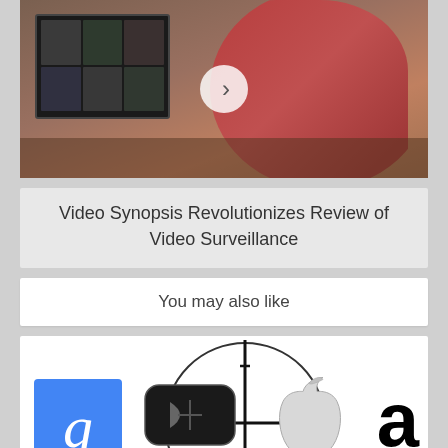[Figure (photo): Screenshot of a mobile web page showing a man in red shirt working at computer monitors in surveillance/video review context, with a play button overlay]
Video Synopsis Revolutionizes Review of Video Surveillance
You may also like
[Figure (screenshot): Mobile webpage section showing 'You may also like' with various tech company logos (Google, Gameloft, Apple, Amazon) arranged with a crosshair/target overlay on the center logos]